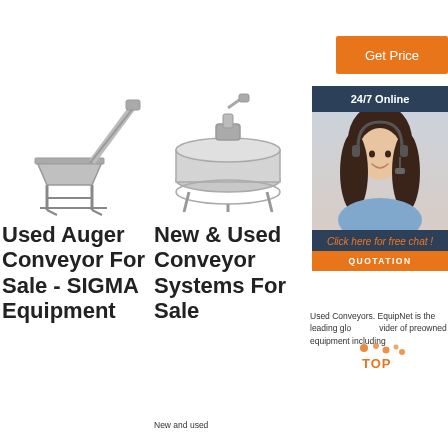[Figure (other): Orange 'Get Price' button]
[Figure (photo): Used auger conveyor machine - industrial screw conveyor with hopper on metal frame]
Used Auger Conveyor For Sale - SIGMA Equipment
[Figure (photo): New & Used conveyor system - circular vibratory feeder/conveyor with motor on top]
New & Used Conveyor Systems For Sale
New and used
[Figure (photo): 24/7 Online chat widget with customer service agent photo, 'Click here for free chat!' text and orange QUOTATION button]
Used Conveyors. EquipNet is the leading global provider of preowned equipment including